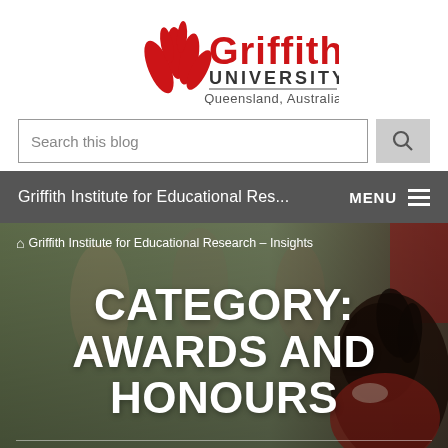[Figure (logo): Griffith University logo with red torch/leaf emblem and text 'Griffith UNIVERSITY Queensland, Australia']
Search this blog
Griffith Institute for Educational Res...   MENU
[Figure (photo): Background photo of people on a university campus, with a woman laughing in the foreground]
🏠 Griffith Institute for Educational Research – Insights
CATEGORY: AWARDS AND HONOURS